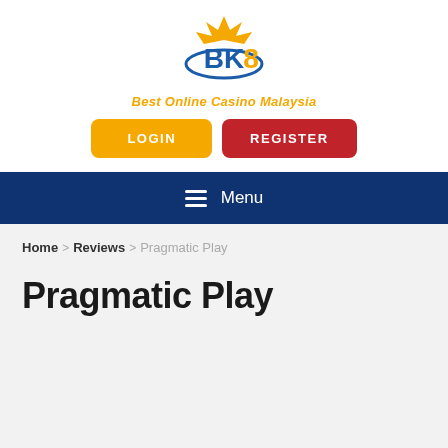[Figure (logo): BK8 logo with crown icon, blue and gold text on white background]
Best Online Casino Malaysia
[Figure (other): LOGIN button (gold/yellow) and REGISTER button (dark red), side by side]
☰ Menu
Home > Reviews > Pragmatic Play
Pragmatic Play